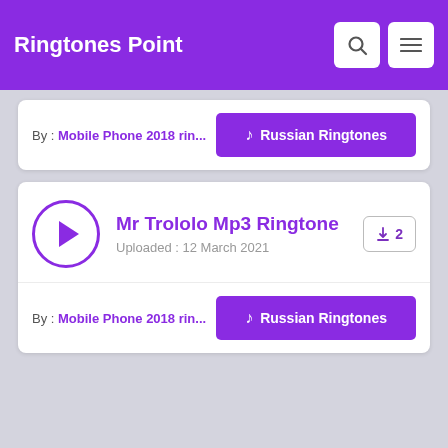Ringtones Point
By : Mobile Phone 2018 rin...
♪ Russian Ringtones
Mr Trololo Mp3 Ringtone
Uploaded : 12 March 2021
⬇ 2
By : Mobile Phone 2018 rin...
♪ Russian Ringtones